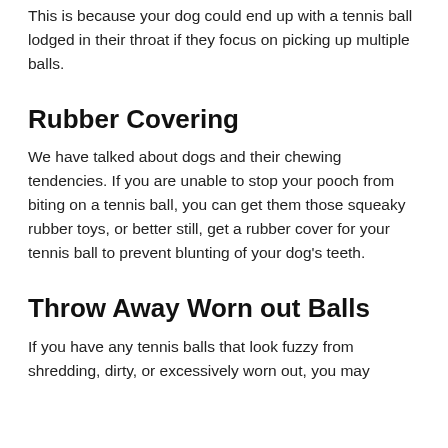This is because your dog could end up with a tennis ball lodged in their throat if they focus on picking up multiple balls.
Rubber Covering
We have talked about dogs and their chewing tendencies. If you are unable to stop your pooch from biting on a tennis ball, you can get them those squeaky rubber toys, or better still, get a rubber cover for your tennis ball to prevent blunting of your dog's teeth.
Throw Away Worn out Balls
If you have any tennis balls that look fuzzy from shredding, dirty, or excessively worn out, you may